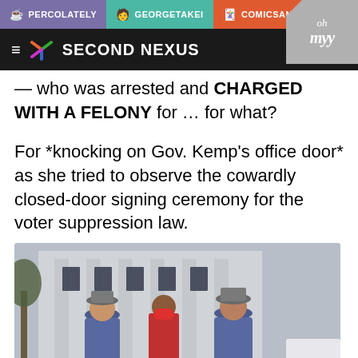PERCOLATELY | GEORGETAKEI | COMICSANDS
SECOND NEXUS
... who was arrested and CHARGED WITH A FELONY for ... for what?
For *knocking on Gov. Kemp's office door* as she tried to observe the cowardly closed-door signing ceremony for the voter suppression law.
[Figure (photo): A woman wearing a red mask being detained by two state troopers in blue uniforms and grey hats outside a building.]